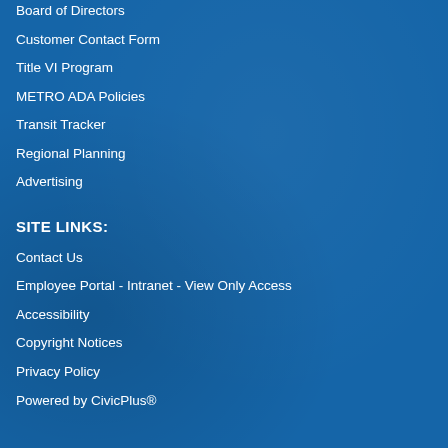Board of Directors
Customer Contact Form
Title VI Program
METRO ADA Policies
Transit Tracker
Regional Planning
Advertising
SITE LINKS:
Contact Us
Employee Portal - Intranet - View Only Access
Accessibility
Copyright Notices
Privacy Policy
Powered by CivicPlus®